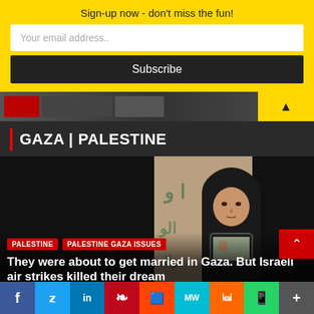Sign-up now - don't miss the fun!
Your email address..
Subscribe
GAZA | PALESTINE
[Figure (photo): A woman wearing a black hijab holding up a smartphone, standing in front of a wall with Arabic graffiti]
PALESTINE   PALESTINE GAZA ISSUES
They were about to get married in Gaza. But Israeli air strikes killed their dream
f  Twitter  in  Pinterest  Reddit  MW  Mix  WhatsApp  +